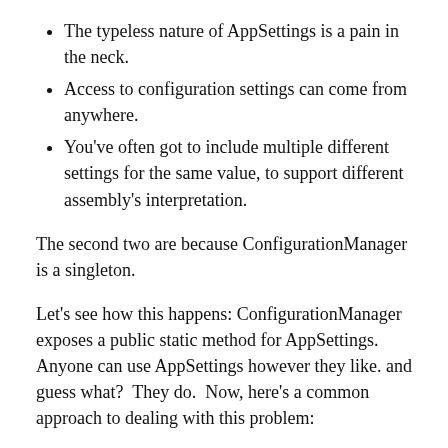The typeless nature of AppSettings is a pain in the neck.
Access to configuration settings can come from anywhere.
You've often got to include multiple different settings for the same value, to support different assembly's interpretation.
The second two are because ConfigurationManager is a singleton.
Let's see how this happens: ConfigurationManager exposes a public static method for AppSettings. Anyone can use AppSettings however they like. and guess what?  They do.  Now, here's a common approach to dealing with this problem:
Only one class can access AppSettings.
Often, this class is a static class, so only has static